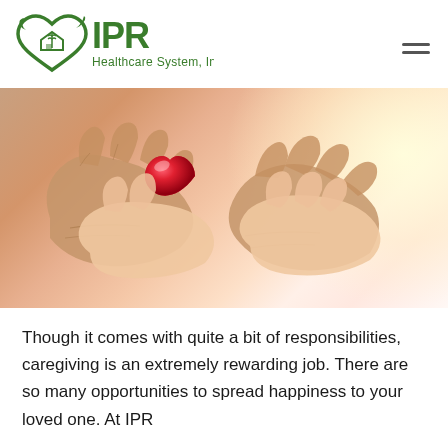[Figure (logo): IPR Healthcare System, Inc. logo — green heart with house/caduceus icon and green bold text 'IPR Healthcare System, Inc.']
[Figure (photo): Close-up photo of two pairs of hands — an elderly person's wrinkled hands and a younger person's smooth hands — together holding a red heart-shaped object, with a warm glowing background.]
Though it comes with quite a bit of responsibilities, caregiving is an extremely rewarding job. There are so many opportunities to spread happiness to your loved one. At IPR